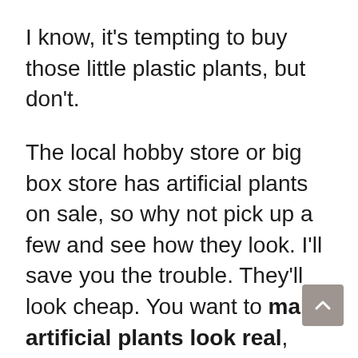I know, it's tempting to buy those little plastic plants, but don't.
The local hobby store or big box store has artificial plants on sale, so why not pick up a few and see how they look. I'll save you the trouble. They'll look cheap. You want to make artificial plants look real, right? Well, in the world of artificial plants and flowers, you really do get what you're paying for. Invest in fabric-based plants